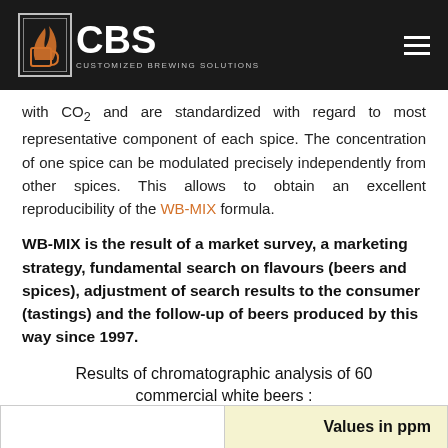CBS — Customized Brewing Solutions
with CO2 and are standardized with regard to most representative component of each spice. The concentration of one spice can be modulated precisely independently from other spices. This allows to obtain an excellent reproducibility of the WB-MIX formula.
WB-MIX is the result of a market survey, a marketing strategy, fundamental search on flavours (beers and spices), adjustment of search results to the consumer (tastings) and the follow-up of beers produced by this way since 1997.
Results of chromatographic analysis of 60 commercial white beers :
|  | Values in ppm |
| --- | --- |